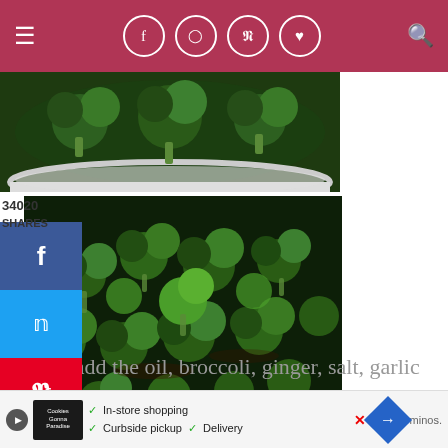[Figure (screenshot): Website navigation bar with hamburger menu, social media icons (Facebook, Instagram, Pinterest, heart), and search icon on dark red background]
[Figure (photo): Top photo of broccoli florets in a white bowl]
34020
SHARES
[Figure (screenshot): Social sharing sidebar with Facebook (f), Twitter (bird), and Pinterest (P) buttons]
[Figure (photo): Large photo of broccoli florets cooking in a dark skillet]
In a large skillet, add the oil, broccoli, ginger, salt, garlic powder
[Figure (screenshot): Advertisement banner with store pickup/delivery options, play button, logo, and navigation arrow]